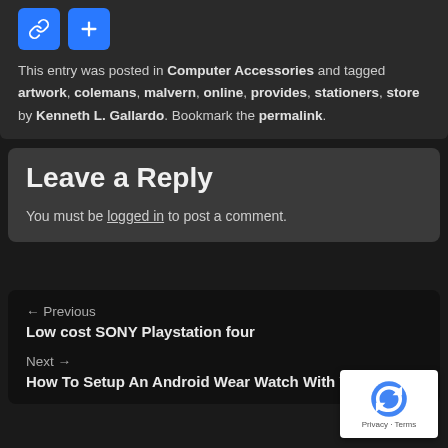[Figure (other): Two blue icon buttons: a share/link icon and a plus/add icon]
This entry was posted in Computer Accessories and tagged artwork, colemans, malvern, online, provides, stationers, store by Kenneth L. Gallardo. Bookmark the permalink.
Leave a Reply
You must be logged in to post a comment.
← Previous
Low cost SONY Playstation four
Next →
How To Setup An Android Wear Watch With Your Pho...